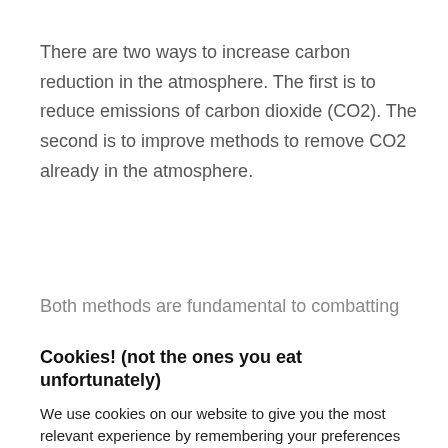There are two ways to increase carbon reduction in the atmosphere. The first is to reduce emissions of carbon dioxide (CO2). The second is to improve methods to remove CO2 already in the atmosphere.
Both methods are fundamental to combatting
Cookies! (not the ones you eat unfortunately)
We use cookies on our website to give you the most relevant experience by remembering your preferences and repeat visits. By clicking “Accept”, you consent to the use of ALL the cookies.
Do not sell my personal information.
Cookie settings   ACCEPT